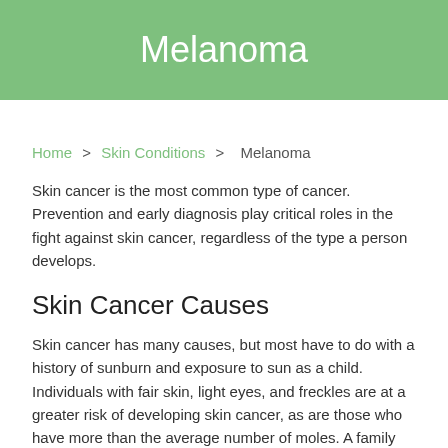Melanoma
Home > Skin Conditions > Melanoma
Skin cancer is the most common type of cancer. Prevention and early diagnosis play critical roles in the fight against skin cancer, regardless of the type a person develops.
Skin Cancer Causes
Skin cancer has many causes, but most have to do with a history of sunburn and exposure to sun as a child. Individuals with fair skin, light eyes, and freckles are at a greater risk of developing skin cancer, as are those who have more than the average number of moles. A family history of this form of cancer also increases a person's risk of developing a melanoma or carcinoma.
Individuals with chronic, repeated, or prolonged sun exposure